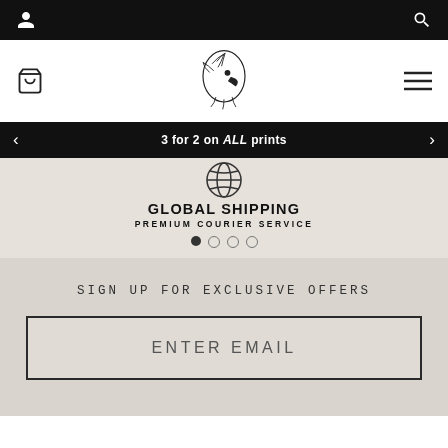User icon | Search icon
[Figure (logo): Eagle/hawk head logo illustration, line art style]
3 for 2 on ALL prints
[Figure (illustration): Globe/world shipping icon]
GLOBAL SHIPPING
PREMIUM COURIER SERVICE
SIGN UP FOR EXCLUSIVE OFFERS
ENTER EMAIL